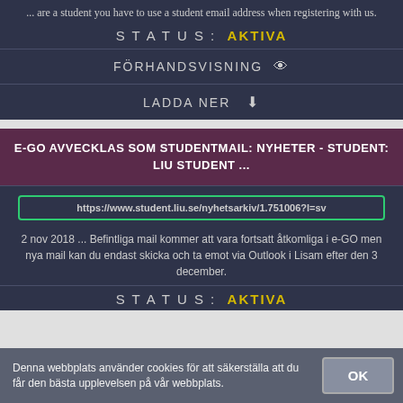... are a student you have to use a student email address when registering with us.
STATUS: AKTIVA
FÖRHANDSVISNING 👁
LADDA NER ⬇
E-GO AVVECKLAS SOM STUDENTMAIL: NYHETER - STUDENT: LIU STUDENT ...
https://www.student.liu.se/nyhetsarkiv/1.751006?l=sv
2 nov 2018 ... Befintliga mail kommer att vara fortsatt åtkomliga i e-GO men nya mail kan du endast skicka och ta emot via Outlook i Lisam efter den 3 december.
STATUS: AKTIVA
Denna webbplats använder cookies för att säkerställa att du får den bästa upplevelsen på vår webbplats.